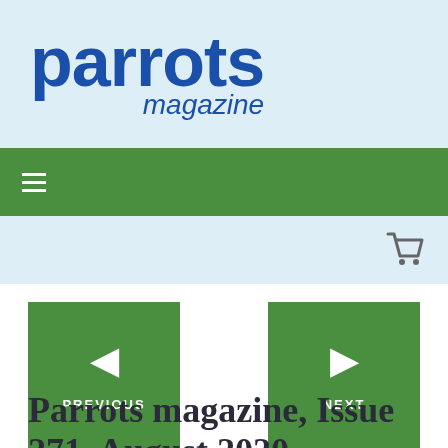[Figure (logo): Parrots magazine logo: large bold blue text 'parrots' with italic blue 'magazine' below]
[Figure (screenshot): Green navigation bar with hamburger menu icon (three white horizontal lines)]
[Figure (screenshot): Light blue bar with shopping cart icon on the right]
[Figure (screenshot): Two green navigation buttons: PREVIOUS (left arrow) and NEXT (right arrow)]
Parrots magazine, Issue 271, August 2020